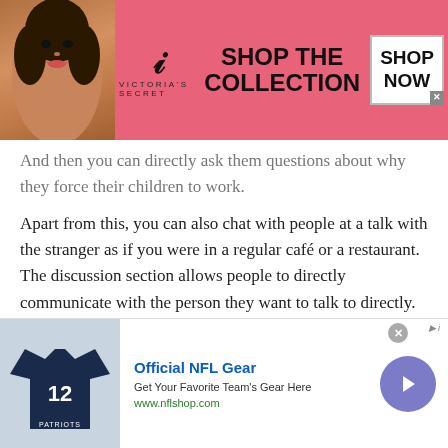[Figure (photo): Victoria's Secret advertisement banner with model, VS logo, 'SHOP THE COLLECTION' text, and 'SHOP NOW' button]
And then you can directly ask them questions about why they force their children to work.
Apart from this, you can also chat with people at a talk with the stranger as if you were in a regular café or a restaurant. The discussion section allows people to directly communicate with the person they want to talk to directly.
5. Other features you must know while chat with people of Moldova (Republic
[Figure (photo): Official NFL Gear advertisement with NFL jersey image, title 'Official NFL Gear', description 'Get Your Favorite Team's Gear Here', URL 'www.nflshop.com', and navigation arrow button]